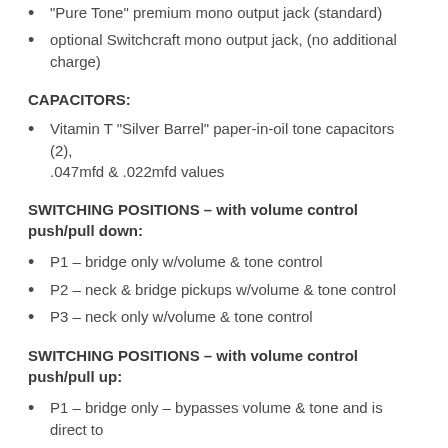“Pure Tone” premium mono output jack (standard)
optional Switchcraft mono output jack, (no additional charge)
CAPACITORS:
Vitamin T “Silver Barrel” paper-in-oil tone capacitors (2), .047mfd & .022mfd values
SWITCHING POSITIONS – with volume control push/pull down:
P1 – bridge only w/volume & tone control
P2 – neck & bridge pickups w/volume & tone control
P3 – neck only w/volume & tone control
SWITCHING POSITIONS – with volume control push/pull up:
P1 – bridge only – bypasses volume & tone and is direct to